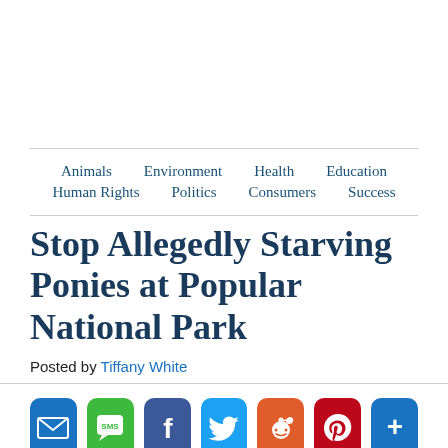Animals | Environment | Health | Education | Human Rights | Politics | Consumers | Success
Stop Allegedly Starving Ponies at Popular National Park
Posted by Tiffany White
[Figure (infographic): Social sharing buttons: Email, SMS, Facebook, Twitter, Reddit, Pinterest, More]